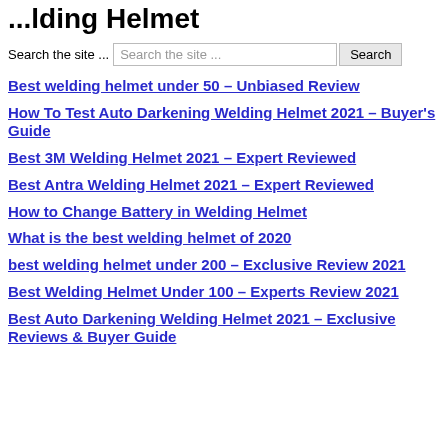...lding Helmet
Search the site ...
Best welding helmet under 50 – Unbiased Review
How To Test Auto Darkening Welding Helmet 2021 – Buyer's Guide
Best 3M Welding Helmet 2021 – Expert Reviewed
Best Antra Welding Helmet 2021 – Expert Reviewed
How to Change Battery in Welding Helmet
What is the best welding helmet of 2020
best welding helmet under 200 – Exclusive Review 2021
Best Welding Helmet Under 100 – Experts Review 2021
Best Auto Darkening Welding Helmet 2021 – Exclusive Reviews & Buyer Guide